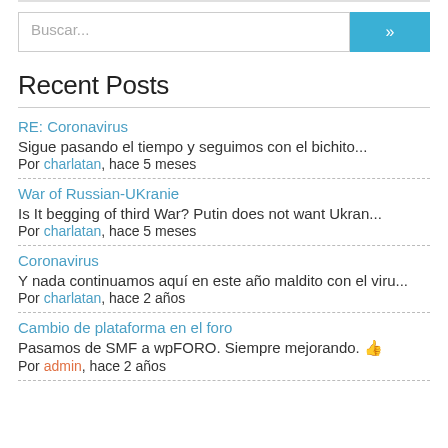Buscar...
Recent Posts
RE: Coronavirus
Sigue pasando el tiempo y seguimos con el bichito...
Por charlatan, hace 5 meses
War of Russian-UKranie
Is It begging of third War? Putin does not want Ukran...
Por charlatan, hace 5 meses
Coronavirus
Y nada continuamos aquí en este año maldito con el viru...
Por charlatan, hace 2 años
Cambio de plataforma en el foro
Pasamos de SMF a wpFORO. Siempre mejorando. 👍
Por admin, hace 2 años